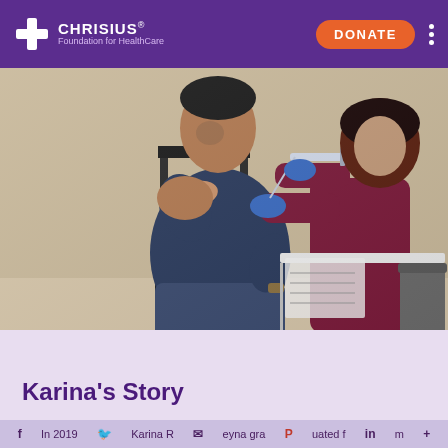CHRISIUS Foundation for HealthCare — DONATE
[Figure (photo): A nurse in maroon scrubs wearing blue gloves administers a vaccine injection to a man seated in a chair in a clinic or community health setting. The man is pulling down his shirt collar to expose his shoulder. A table with medical supplies is visible in the background.]
Karina's Story
In 2019 Karina Reyna graduated from